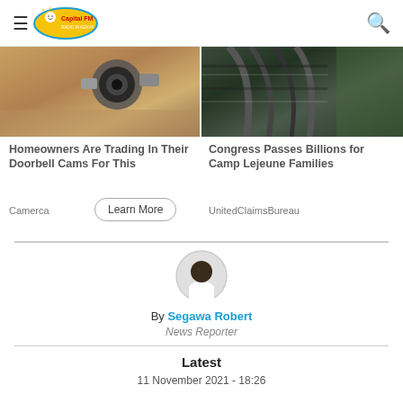Capital FM logo header with hamburger menu and search icon
[Figure (photo): Security camera embedded in sandy/muddy surface, doorbell cam advertisement image]
[Figure (photo): Close-up of zebra or horse mane in dark tones, Camp Lejeune advertisement image]
Homeowners Are Trading In Their Doorbell Cams For This
Camerca
Learn More
Congress Passes Billions for Camp Lejeune Families
UnitedClaimsBureau
[Figure (photo): Author headshot: Segawa Robert, News Reporter, circular avatar]
By Segawa Robert
News Reporter
Latest
11 November 2021 - 18:26